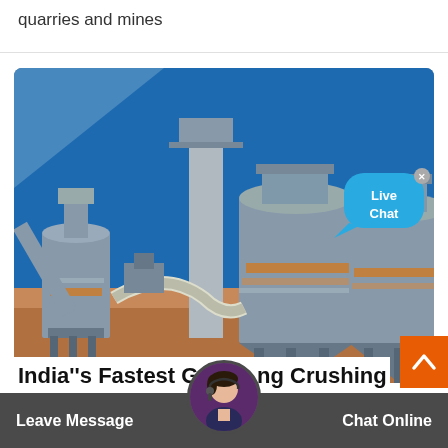quarries and mines
[Figure (photo): Industrial crushing and grinding facility with large cylindrical silos, conveyor systems, and piping structures under a blue sky]
India''s Fastest Growing Crushing Ec
Products extended operations
Leave Message
Chat Online